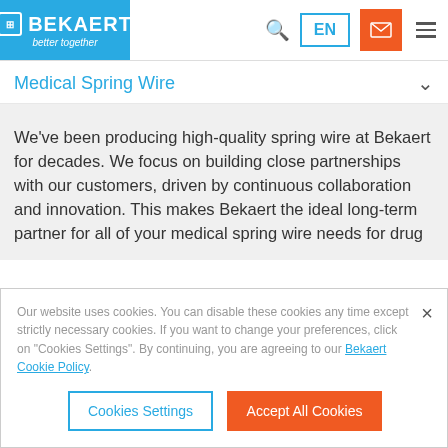[Figure (logo): Bekaert logo with blue background, white text 'BEKAERT' and tagline 'better together']
Navigation bar with search icon, EN language selector, mail icon, and hamburger menu
Medical Spring Wire
We've been producing high-quality spring wire at Bekaert for decades. We focus on building close partnerships with our customers, driven by continuous collaboration and innovation. This makes Bekaert the ideal long-term partner for all of your medical spring wire needs for drug
Our website uses cookies. You can disable these cookies any time except strictly necessary cookies. If you want to change your preferences, click on "Cookies Settings". By continuing, you are agreeing to our Bekaert Cookie Policy.
Cookies Settings | Accept All Cookies